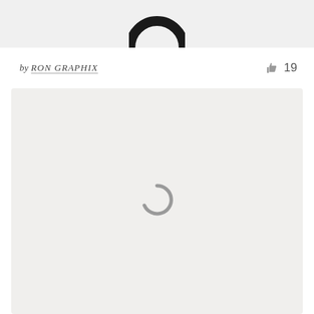[Figure (photo): Top portion of a dark ring/circle shape visible at the top of a light gray image strip]
by RON GRAPHIX  👍 19
[Figure (screenshot): Large light gray content panel with a loading spinner (arc/partial circle) in the center, indicating content is loading]